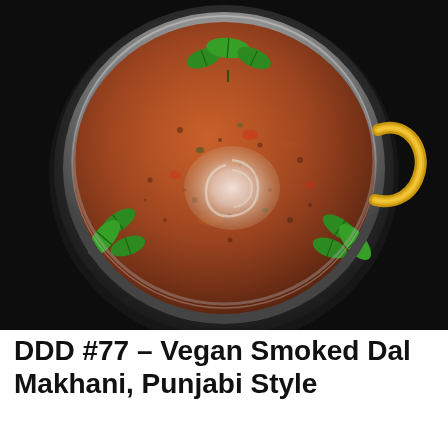[Figure (photo): Overhead view of a Dal Makhani dish served in a shiny silver/steel kadai (Indian wok) with gold handle, garnished with fresh green curry leaves arranged decoratively. The dal is rich reddish-brown in color with a swirl of cream in the center. The kadai sits on a dark black surface with decorative red base.]
DDD #77 – Vegan Smoked Dal Makhani, Punjabi Style